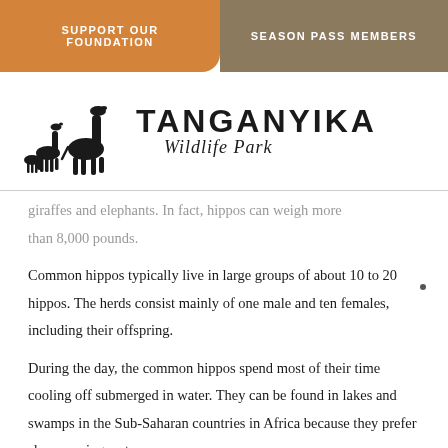SUPPORT OUR FOUNDATION
SEASON PASS MEMBERS
[Figure (logo): Tanganyika Wildlife Park logo with giraffe silhouettes]
...giraffes and elephants. In fact, hippos can weigh more than 8,000 pounds.
Common hippos typically live in large groups of about 10 to 20 hippos. The herds consist mainly of one male and ten females, including their offspring.
During the day, the common hippos spend most of their time cooling off submerged in water. They can be found in lakes and swamps in the Sub-Saharan countries in Africa because they prefer slow-moving water areas so